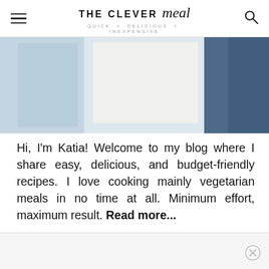THE CLEVER meal — QUICK + DELICIOUS + INEXPENSIVE
[Figure (photo): Partial photo showing white and light-colored objects (possibly dishes or fabric) on a blue background, cropped at top]
Hi, I'm Katia! Welcome to my blog where I share easy, delicious, and budget-friendly recipes. I love cooking mainly vegetarian meals in no time at all. Minimum effort, maximum result. Read more...